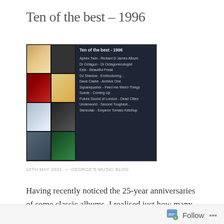Ten of the best – 1996
[Figure (infographic): A dark-background collage image showing album covers on the left in a grid and a list of 10 albums on the right titled 'Ten of the best - 1996', listing: Aphex Twin - Richard D James Album, Dr Octagon - Dr Octagonecologist, Eels - Beautiful Freak, DJ Shadow - Endtroducing..., Dave Clarke - Archive One, Squarepusher - Feed me Weird Things, Suede - Coming Up, Future Sound of London - Dead Cities, Underworld - Second Toughest..., Stereolab - Emperor Tomato Ketchup]
14TH MAY 2021  ~  GEORGE'S MUSIC BLOG
Having recently noticed the 25-year anniversaries of some classic albums, I realised just how many of my